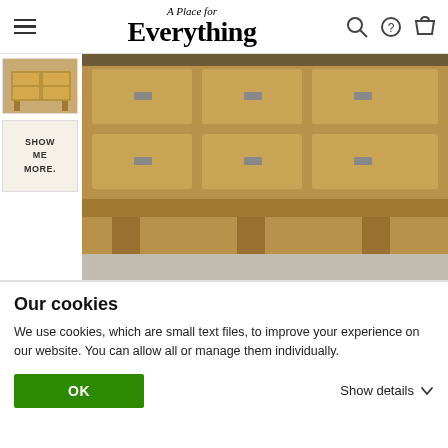A Place for Everything — navigation header with hamburger menu, logo, search, help, and cart icons
[Figure (photo): Thumbnail of wooden TV cabinet/storage unit with drawers]
[Figure (other): Show Me More button thumbnail]
[Figure (photo): Main product photo of a solid oak wooden TV unit with multiple drawers and metal handles, shown on a light grey floor]
TELL A FRIEND
SOCIAL SHARE
Our cookies
We use cookies, which are small text files, to improve your experience on our website. You can allow all or manage them individually.
OK
Show details